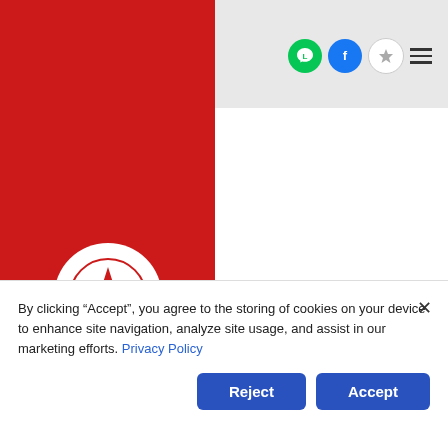mustache, bicycle rights squid sriracha ethical lo-fi hexagon. Tattooed hipster laginus l
[Figure (logo): Red sidebar with white circle containing a red star logo and Thai text 'ตราดาว' below]
[Figure (screenshot): Social media icons: LINE (green circle), Facebook (blue circle), star icon, hamburger menu]
By clicking “Accept”, you agree to the storing of cookies on your device to enhance site navigation, analyze site usage, and assist in our marketing efforts. Privacy Policy
Reject
Accept